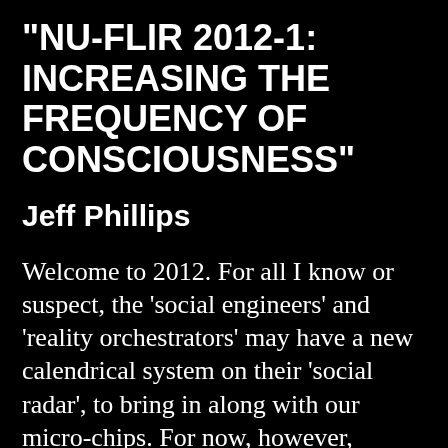"NU-FLIR 2012-1: INCREASING THE FREQUENCY OF CONSCIOUSNESS"
Jeff Phillips
Welcome to 2012. For all I know or suspect, the 'social engineers' and 'reality orchestrators' may have a new calendrical system on their 'social radar', to bring in along with our micro-chips. For now, however,